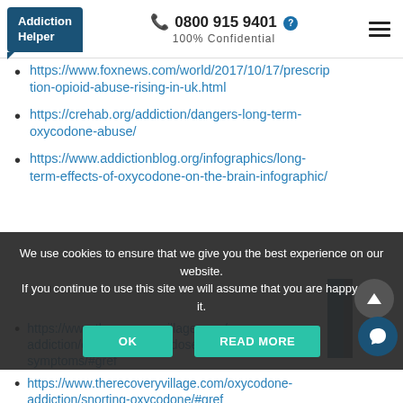Addiction Helper | ☎ 0800 915 9401 | 100% Confidential
https://www.foxnews.com/world/2017/10/17/prescription-opioid-abuse-rising-in-uk.html
https://crehab.org/addiction/dangers-long-term-oxycodone-abuse/
https://www.addictionblog.org/infographics/long-term-effects-of-oxycodone-on-the-brain-infographic/
We use cookies to ensure that we give you the best experience on our website. If you continue to use this site we will assume that you are happy with it.
https://www.therecoveryvillage.com/oxycodone-addiction/oxycodone-overdose-signs-symptoms/#gref
https://www.therecoveryvillage.com/oxycodone-addiction/snorting-oxycodone/#gref